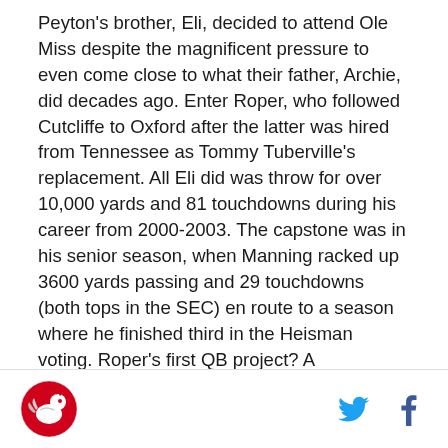Peyton's brother, Eli, decided to attend Ole Miss despite the magnificent pressure to even come close to what their father, Archie, did decades ago. Enter Roper, who followed Cutcliffe to Oxford after the latter was hired from Tennessee as Tommy Tuberville's replacement. All Eli did was throw for over 10,000 yards and 81 touchdowns during his career from 2000-2003. The capstone was in his senior season, when Manning racked up 3600 yards passing and 29 touchdowns (both tops in the SEC) en route to a season where he finished third in the Heisman voting. Roper's first QB project? A resounding success. And as further proof that winning the Heisman doesn't guarantee anything at the next level, Manning (who finished 3rd in the voting over rival Ricky...
[Figure (logo): Red rooster logo icon for sports media outlet]
[Figure (logo): Twitter bird icon (blue) and Facebook f icon (dark blue) social media share buttons]